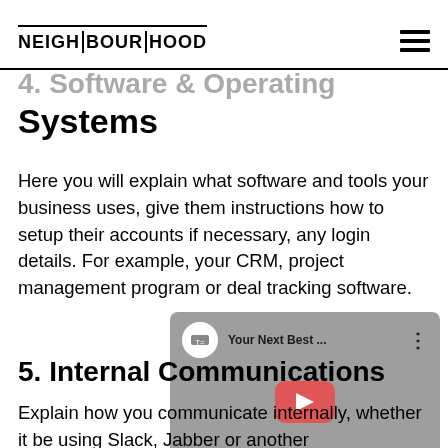NEIGHBOURHOOD
4. Software & Operating Systems
Here you will explain what software and tools your business uses, give them instructions how to setup their accounts if necessary, any login details. For example, your CRM, project management program or deal tracking software.
[Figure (screenshot): YouTube video embed thumbnail showing a channel avatar, video title 'Your Next Best ...', options menu icon, and a red play button on a grey background.]
5. Internal Communications
Explain how you communicate internally, whether it be using Slack, Jabber or another